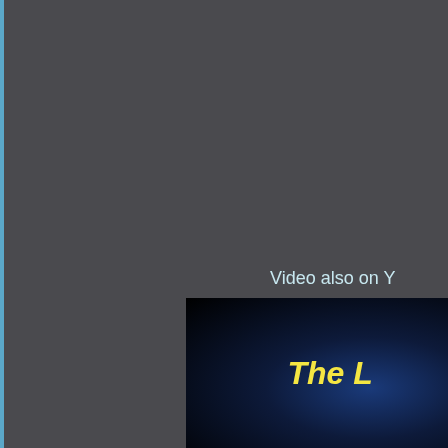Video also on Y
[Figure (screenshot): Partial screenshot of a video thumbnail with dark blue gradient background and yellow italic bold text reading 'The L' (truncated)]